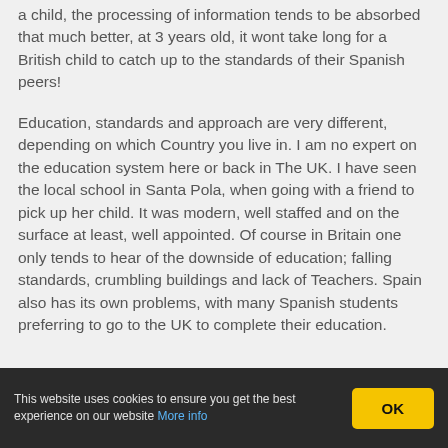a child, the processing of information tends to be absorbed that much better, at 3 years old, it wont take long for a British child to catch up to the standards of their Spanish peers!
Education, standards and approach are very different, depending on which Country you live in. I am no expert on the education system here or back in The UK. I have seen the local school in Santa Pola, when going with a friend to pick up her child. It was modern, well staffed and on the surface at least, well appointed. Of course in Britain one only tends to hear of the downside of education; falling standards, crumbling buildings and lack of Teachers. Spain also has its own problems, with many Spanish students preferring to go to the UK to complete their education.
This website uses cookies to ensure you get the best experience on our website More info OK